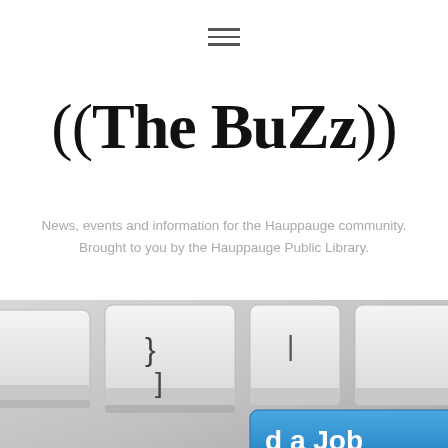≡
((The BuZz))
News, events and information for the Hauppauge community. Brought to you by the Hauppauge Public Library.
Tag: job fair long island
[Figure (photo): Close-up photo of keyboard keys, including a blue key labeled 'd a Job']